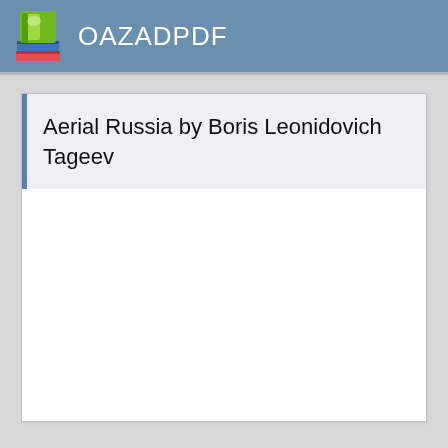OAZADPDF
Aerial Russia by Boris Leonidovich Tageev